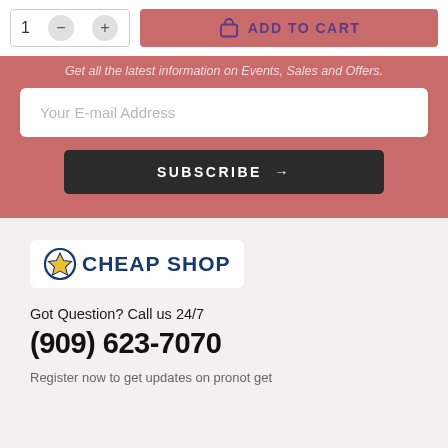[Figure (screenshot): Add to cart UI with quantity selector showing '1' and minus/plus buttons, and a pink 'ADD TO CART' button with shopping bag icon]
Get all the latest information on Events, Sales and Offers.
Your E-mail Address
SUBSCRIBE →
[Figure (logo): Cheap Shop logo: blue circle with yellow star icon, followed by 'CHEAP SHOP' in bold dark blue uppercase letters]
Got Question? Call us 24/7
(909) 623-7070
Register now to get updates on pronot get